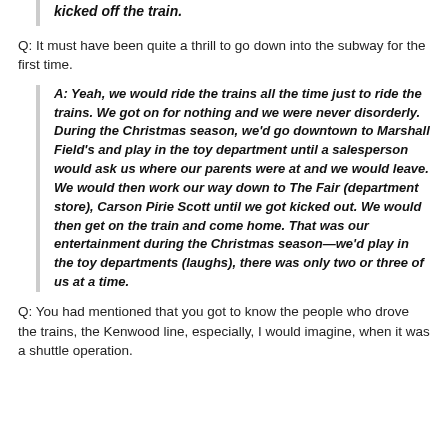kicked off the train.
Q: It must have been quite a thrill to go down into the subway for the first time.
A: Yeah, we would ride the trains all the time just to ride the trains. We got on for nothing and we were never disorderly. During the Christmas season, we'd go downtown to Marshall Field's and play in the toy department until a salesperson would ask us where our parents were at and we would leave. We would then work our way down to The Fair (department store), Carson Pirie Scott until we got kicked out. We would then get on the train and come home. That was our entertainment during the Christmas season—we'd play in the toy departments (laughs), there was only two or three of us at a time.
Q: You had mentioned that you got to know the people who drove the trains, the Kenwood line, especially, I would imagine, when it was a shuttle operation.